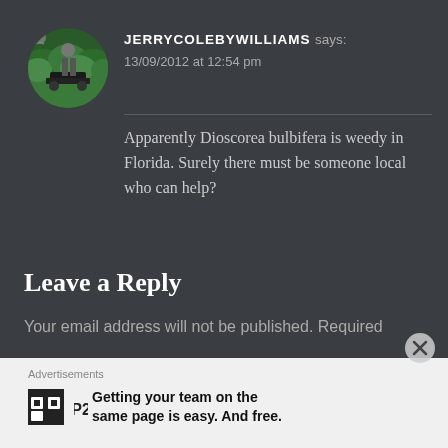[Figure (photo): Circular avatar image showing a person operating a green lawn mower or garden equipment, with lush green hedge/bushes in background]
JERRYCOLEBYWILLIAMS says:
13/09/2012 at 12:54 pm
Apparently Dioscorea bulbifera is weedy in Florida. Surely there must be someone local who can help?
Leave a Reply
Your email address will not be published. Required
Advertisements
Getting your team on the same page is easy. And free.